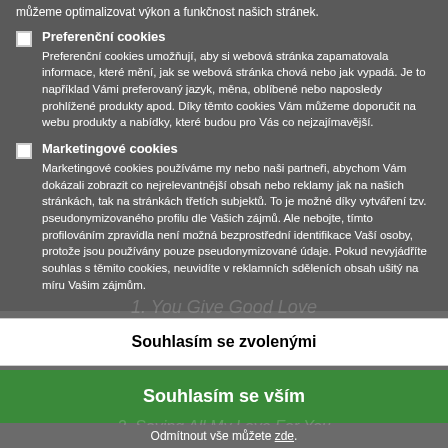můžeme optimalizovat výkon a funkčnost našich stránek.
Preferenční cookies – Preferenční cookies umožňují, aby si webová stránka zapamatovala informace, které mění, jak se webová stránka chová nebo jak vypadá. Je to například Vámi preferovaný jazyk, měna, oblíbené nebo naposledy prohlížené produkty apod. Díky těmto cookies Vám můžeme doporučit na webu produkty a nabídky, které budou pro Vás co nejzajímavější.
Marketingové cookies – Marketingové cookies používáme my nebo naši partneři, abychom Vám dokázali zobrazit co nejrelevantnější obsah nebo reklamy jak na našich stránkách, tak na stránkách třetích subjektů. To je možné díky vytváření tzv. pseudonymizovaného profilu dle Vašich zájmů. Ale nebojte, tímto profilováním zpravidla není možná bezprostřední identifikace Vaší osoby, protože jsou používány pouze pseudonymizované údaje. Pokud nevyjádříte souhlas s těmito cookies, neuvidíte v reklamních sděleních obsah ušitý na míru Vašim zájmům.
Souhlasím se zvolenými
Souhlasím se vším
Odmítnout vše můžete zde.